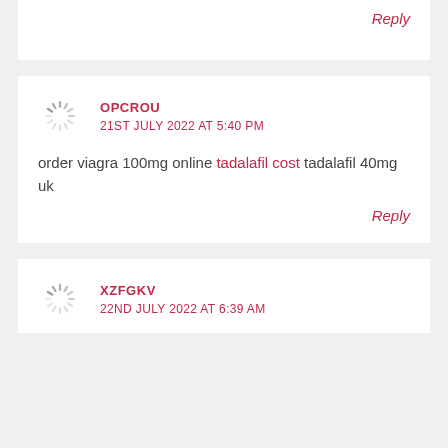Reply
OPCROU
21ST JULY 2022 AT 5:40 PM
order viagra 100mg online tadalafil cost tadalafil 40mg uk
Reply
XZFGKV
22ND JULY 2022 AT 6:39 AM